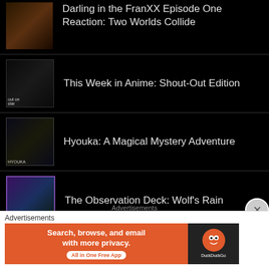Darling in the FranXX Episode One Reaction: Two Worlds Collide
This Week in Anime: Shout-Out Edition
Hyouka: A Magical Mystery Adventure
The Observation Deck: Wolf’s Rain
In Defense of Slice of Life
Advertisements
[Figure (screenshot): DuckDuckGo advertisement banner: Search, browse, and email with more privacy. All in One Free App]
Advertisements